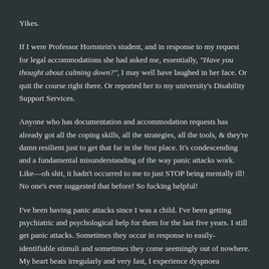Yikes.
If I were Professor Hornstein's student, and in response to my request for legal accommodations she had asked me, essentially, "Have you thought about calming down?", I may well have laughed in her face. Or quit the course right there. Or reported her to my university's Disability Support Services.
Anyone who has documentation and accommodation requests has already got all the coping skills, all the strategies, all the tools, & they're damn resilient just to get that far in the first place. It's condescending and a fundamental misunderstanding of the way panic attacks work.  Like—oh shit, it hadn't occurred to me to just STOP being mentally ill! No one's ever suggested that before! So fucking helpful!
I've been having panic attacks since I was a child. I've been getting psychiatric and psychological help for them for the last five years. I still get panic attacks. Sometimes they occur in response to easily-identifiable stimuli and sometimes they come seemingly out of nowhere. My heart beats irregularly and very fast, I experience dyspnoea (shortness & irregularity of breath), my whole body breaks out in a sweat, I have hot and cold flushes, my chest feels tight and painful, I might blush bright red or go dead pale, I shake like a stick insect in a